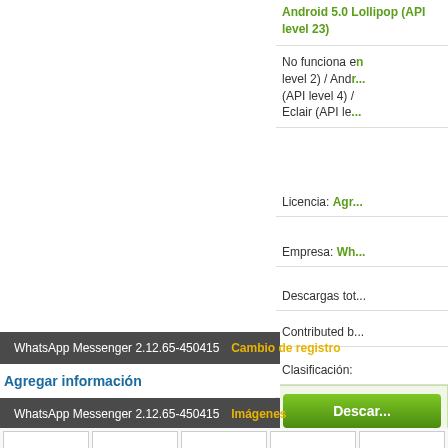Android 5.0 Lollipop (API level 23)
No funciona en (API level 2) / Android (API level 4) / Eclair (API le...
Licencia: Agr...
Empresa: Wh...
Descargas tot...
Contributed b...
Clasificación:
Descar... (Download button)
Probado...
WhatsApp Messenger 2.12.65-450415  Cambio de registro
Agregar información
WhatsApp Messenger 2.12.65-450415  Imágenes